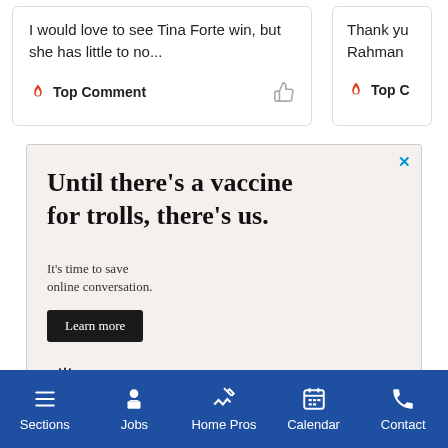I would love to see Tina Forte win, but she has little to no...
Top Comment
Thank yo Rahman
Top C
[Figure (screenshot): Advertisement for OpenWeb with text: Until there's a vaccine for trolls, there's us. It's time to save online conversation. Learn more button. OpenWeb logo.]
Sections | Jobs | Home Pros | Calendar | Contact